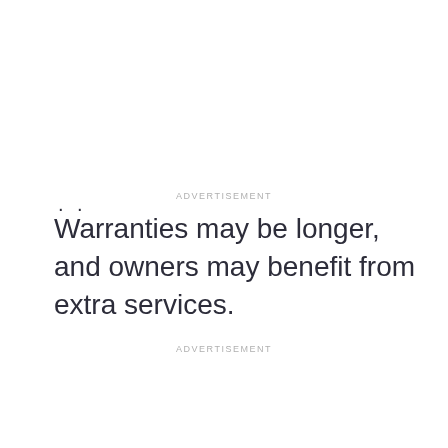. .
ADVERTISEMENT
Warranties may be longer, and owners may benefit from extra services.
ADVERTISEMENT